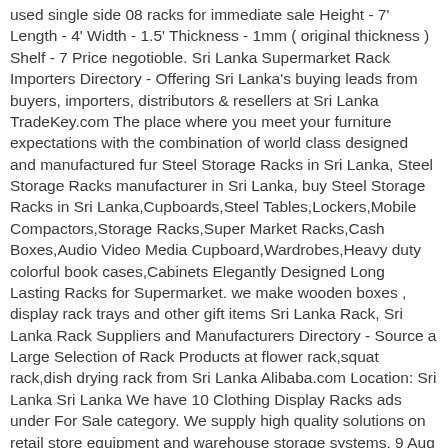used single side 08 racks for immediate sale Height - 7' Length - 4' Width - 1.5' Thickness - 1mm ( original thickness ) Shelf - 7 Price negotioble. Sri Lanka Supermarket Rack Importers Directory - Offering Sri Lanka's buying leads from buyers, importers, distributors & resellers at Sri Lanka TradeKey.com The place where you meet your furniture expectations with the combination of world class designed and manufactured fur Steel Storage Racks in Sri Lanka, Steel Storage Racks manufacturer in Sri Lanka, buy Steel Storage Racks in Sri Lanka,Cupboards,Steel Tables,Lockers,Mobile Compactors,Storage Racks,Super Market Racks,Cash Boxes,Audio Video Media Cupboard,Wardrobes,Heavy duty colorful book cases,Cabinets Elegantly Designed Long Lasting Racks for Supermarket. we make wooden boxes , display rack trays and other gift items Sri Lanka Rack, Sri Lanka Rack Suppliers and Manufacturers Directory - Source a Large Selection of Rack Products at flower rack,squat rack,dish drying rack from Sri Lanka Alibaba.com Location: Sri Lanka Sri Lanka We have 10 Clothing Display Racks ads under For Sale category. We supply high quality solutions on retail store equipment and warehouse storage systems. 9 Aug 2018, 7:25am Referance : ad753-1808-023817 Views : 701 Eligible addresses will see the option "Same-day Delivery" during checkout. ELIGIBLE FOR GOVERNMENT TENDERS. Sri Lanka Supermarket Rack Importers Directory Offe...